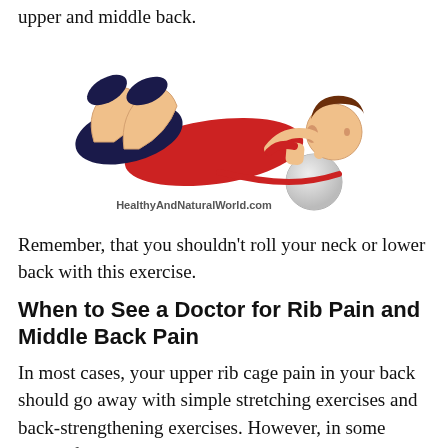upper and middle back.
[Figure (illustration): Person lying on a foam roller positioned under their upper/middle back, knees bent, feet flat, hands behind head, wearing red shirt and dark shorts — foam roller exercise illustration with 'HealthyAndNaturalWorld.com' watermark]
Remember, that you shouldn't roll your neck or lower back with this exercise.
When to See a Doctor for Rib Pain and Middle Back Pain
In most cases, your upper rib cage pain in your back should go away with simple stretching exercises and back-strengthening exercises. However, in some cases of chronic middle back pain and rib pain, you should see a doctor.